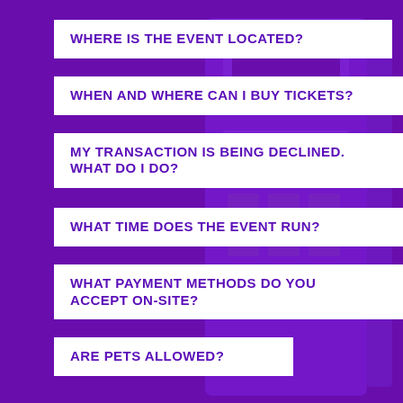WHERE IS THE EVENT LOCATED?
WHEN AND WHERE CAN I BUY TICKETS?
MY TRANSACTION IS BEING DECLINED. WHAT DO I DO?
WHAT TIME DOES THE EVENT RUN?
WHAT PAYMENT METHODS DO YOU ACCEPT ON-SITE?
ARE PETS ALLOWED?